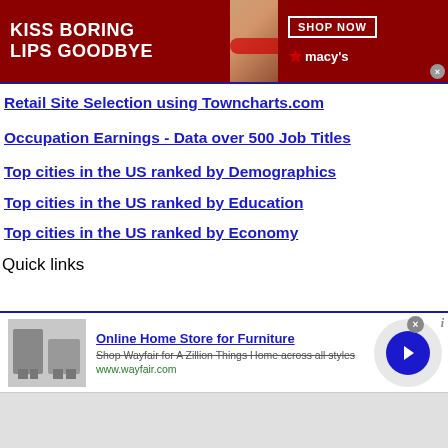[Figure (photo): Macy's advertisement banner: red background with woman's face wearing red lipstick, text 'KISS BORING LIPS GOODBYE', 'SHOP NOW' button, and Macy's star logo]
Retail Site Selection using Towncharts.com
Occupation Earnings - Data over 500 Job Titles
Top cities in the US ranked by Demographics
Top cities in the US ranked by Education
Top cities in the US ranked by Economy
Quick links
[Figure (screenshot): Wayfair advertisement: 'Online Home Store for Furniture', 'Shop Wayfair for A Zillion Things Home across all styles', www.wayfair.com, with furniture image and blue arrow button]